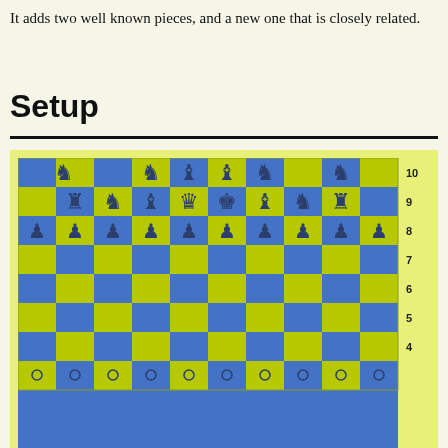It adds two well known pieces, and a new one that is closely related.
Setup
[Figure (illustration): A 10-column chess board with blue and yellow-green alternating squares, showing chess pieces in rows 8, 9, and 10. Row numbers 10 down to 4 (and partial row 3) are labeled on the right side. Row 10 has knights in columns 2,4,5,6,7,9. Row 9 has rook, knight, bishop, queen, king, bishop, knight, rook in columns 2-9. Row 8 has pawns in all 10 columns. Bottom row (row 3) shows small circles (pawns) in all columns.]